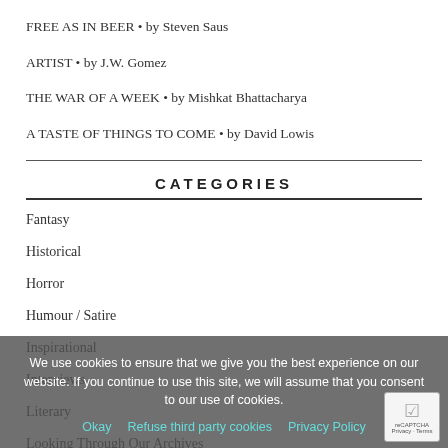FREE AS IN BEER • by Steven Saus
ARTIST • by J.W. Gomez
THE WAR OF A WEEK • by Mishkat Bhattacharya
A TASTE OF THINGS TO COME • by David Lowis
CATEGORIES
Fantasy
Historical
Horror
Humour / Satire
Inspirational
Interviews
Literary
Looking Through Our Archives
We use cookies to ensure that we give you the best experience on our website. If you continue to use this site, we will assume that you consent to our use of cookies.